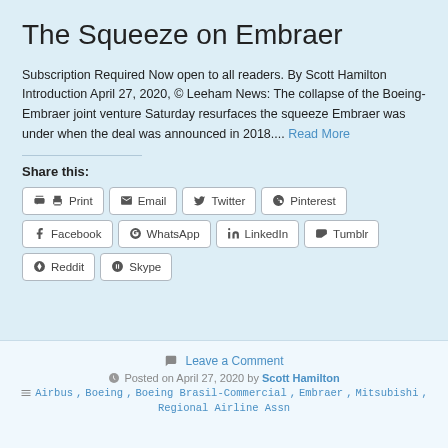The Squeeze on Embraer
Subscription Required Now open to all readers. By Scott Hamilton Introduction April 27, 2020, © Leeham News: The collapse of the Boeing-Embraer joint venture Saturday resurfaces the squeeze Embraer was under when the deal was announced in 2018.... Read More
Share this:
Print | Email | Twitter | Pinterest | Facebook | WhatsApp | LinkedIn | Tumblr | Reddit | Skype
Leave a Comment
Posted on April 27, 2020 by Scott Hamilton
Airbus, Boeing, Boeing Brasil-Commercial, Embraer, Mitsubishi, Regional Airline Assn